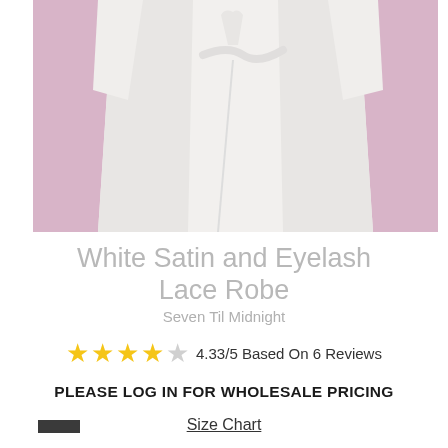[Figure (photo): Product photo of a model wearing a white satin robe with a tie at the waist, against a pink/lavender background]
White Satin and Eyelash Lace Robe
Seven Til Midnight
4.33/5 Based On 6 Reviews
PLEASE LOG IN FOR WHOLESALE PRICING
Size Chart